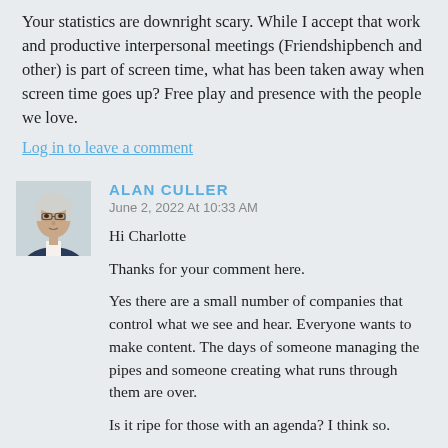Your statistics are downright scary. While I accept that work and productive interpersonal meetings (Friendshipbench and other) is part of screen time, what has been taken away when screen time goes up? Free play and presence with the people we love.
Log in to leave a comment
ALAN CULLER
June 2, 2022 At 10:33 AM
Hi Charlotte
Thanks for your comment here.
Yes there are a small number of companies that control what we see and hear. Everyone wants to make content. The days of someone managing the pipes and someone creating what runs through them are over.

Is it ripe for those with an agenda? I think so.

Of course, not everything is a big conspiracy to dumb